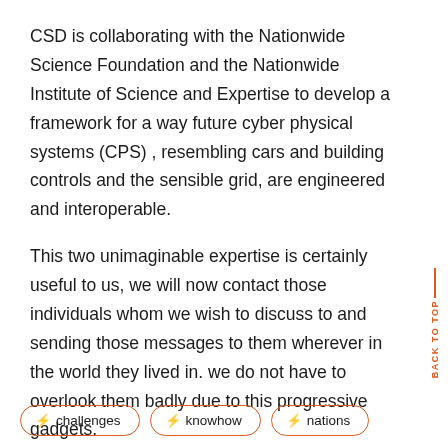CSD is collaborating with the Nationwide Science Foundation and the Nationwide Institute of Science and Expertise to develop a framework for a way future cyber physical systems (CPS) , resembling cars and building controls and the sensible grid, are engineered and interoperable.
This two unimaginable expertise is certainly useful to us, we will now contact those individuals whom we wish to discuss to and sending those messages to them wherever in the world they lived in. we do not have to overlook them badly due to this progressive gadgets.
⚡ challenges
⚡ knowhow
⚡ nations